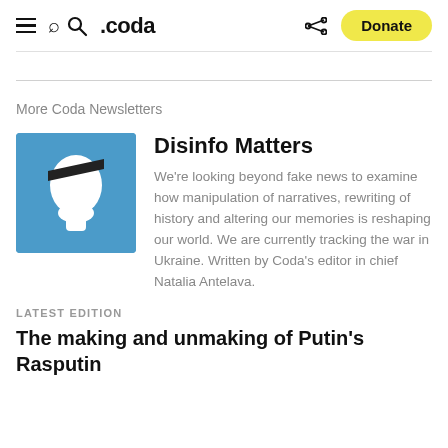≡ 🔍 .coda  [share] [Donate]
More Coda Newsletters
[Figure (illustration): Blue square icon with white silhouette of a head with a dark diagonal stripe across it, representing the Disinfo Matters newsletter logo.]
Disinfo Matters
We're looking beyond fake news to examine how manipulation of narratives, rewriting of history and altering our memories is reshaping our world. We are currently tracking the war in Ukraine. Written by Coda's editor in chief Natalia Antelava.
LATEST EDITION
The making and unmaking of Putin's Rasputin